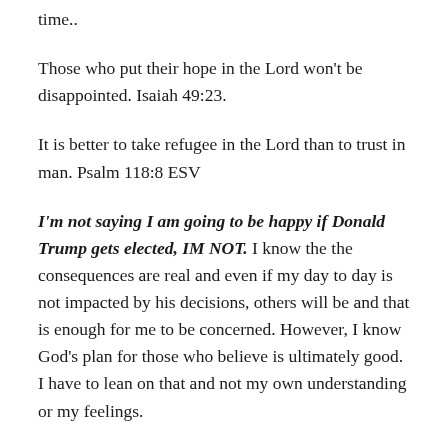time..
Those who put their hope in the Lord won't be disappointed. Isaiah 49:23.
It is better to take refugee in the Lord than to trust in man. Psalm 118:8 ESV
I'm not saying I am going to be happy if Donald Trump gets elected, IM NOT. I know the the consequences are real and even if my day to day is not impacted by his decisions, others will be and that is enough for me to be concerned. However, I know God's plan for those who believe is ultimately good. I have to lean on that and not my own understanding or my feelings.
GO Vote!